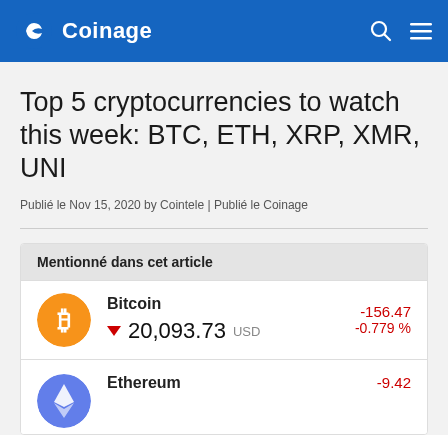Coinage
Top 5 cryptocurrencies to watch this week: BTC, ETH, XRP, XMR, UNI
Publié le Nov 15, 2020 by Cointele | Publié le Coinage
Mentionné dans cet article
| Coin | Name | Price | Change | Change % |
| --- | --- | --- | --- | --- |
| Bitcoin icon | Bitcoin | 20,093.73 USD | -156.47 | -0.779 % |
| Ethereum icon | Ethereum |  | -9.42 |  |